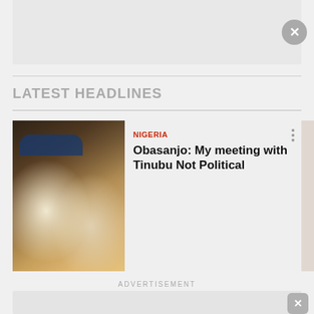[Figure (other): Top advertisement banner placeholder with close button (X)]
LATEST HEADLINES
[Figure (photo): Photo of two men in traditional Nigerian attire seated together, one wearing a blue beaded headband]
Obasanjo: My meeting with Tinubu Not Political
NIGERIA
ADVERTISEMENT
[Figure (other): Bottom advertisement banner placeholder with close button (X)]